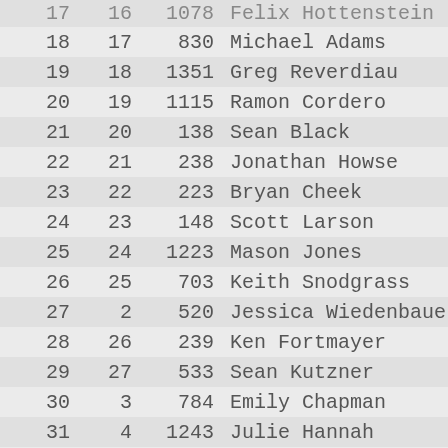| Overall | Gender Rank | Bib | Name | Gender |
| --- | --- | --- | --- | --- |
| 17 | 16 | 1078 | Felix Hottenstein | M |
| 18 | 17 | 830 | Michael Adams | M |
| 19 | 18 | 1351 | Greg Reverdiau | M |
| 20 | 19 | 1115 | Ramon Cordero | M |
| 21 | 20 | 138 | Sean Black | M |
| 22 | 21 | 238 | Jonathan Howse | M |
| 23 | 22 | 223 | Bryan Cheek | M |
| 24 | 23 | 148 | Scott Larson | M |
| 25 | 24 | 1223 | Mason Jones | M |
| 26 | 25 | 703 | Keith Snodgrass | M |
| 27 | 2 | 520 | Jessica Wiedenbauer | F |
| 28 | 26 | 239 | Ken Fortmayer | M |
| 29 | 27 | 533 | Sean Kutzner | M |
| 30 | 3 | 784 | Emily Chapman | F |
| 31 | 4 | 1243 | Julie Hannah | F |
| 32 | 28 | 23 | Doug Nichols | M |